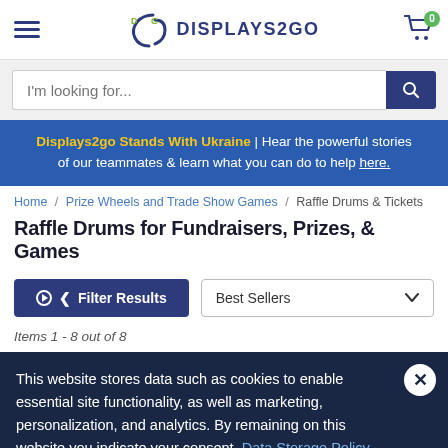DISPLAYS2GO
Displays2go Stands With Ukraine | Hear the powerful stories of our teammates & learn what you can do to help here.
Home / Prize Wheels and Trade Show Games / Raffle Drums & Tickets
Raffle Drums for Fundraisers, Prizes, & Games
Filter Results  Best Sellers
Items 1 - 8 out of 8
This website stores data such as cookies to enable essential site functionality, as well as marketing, personalization, and analytics. By remaining on this website you indicate your consent. Data Storage Policy